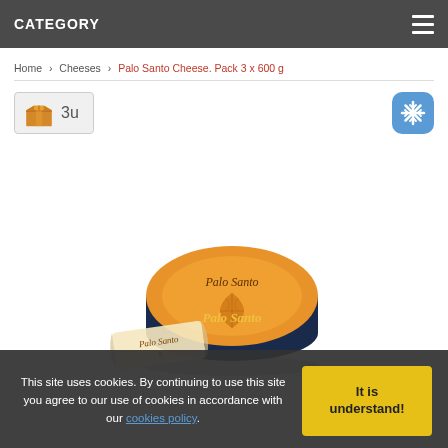CATEGORY
Home > Cheeses > Palo Santo Cheese. Pack 3 x 600 g
[Figure (other): Box icon with 3u label and snowflake/cold indicator icon]
[Figure (photo): Palo Santo cheese product photo showing a round orange cheese wheel with Palo Santo branding and a scroll label]
This site uses cookies. By continuing to use this site you agree to our use of cookies in accordance with our cookies policy.